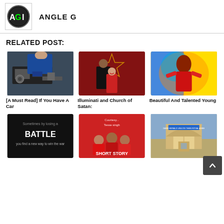[Figure (logo): AGI logo — circular black badge with green and white text 'AGI']
ANGLE G
RELATED POST:
[Figure (photo): Mechanic working on a car engine]
[A Must Read] If You Have A Car
[Figure (photo): Two people in dark robes with a pentagram symbol — Illuminati and Church of Satan themed image]
Illuminati and Church of Satan:
[Figure (illustration): Colorful abstract painting of a woman in a red outfit with yellow and blue background]
Beautiful And Talented Young
[Figure (photo): Dark motivational image with text: Sometimes by losing a BATTLE you find a new way to win the war]
[Figure (photo): Red-background image with people and text: SHORT STORY]
[Figure (photo): Archway/gate structure of a building or institution]